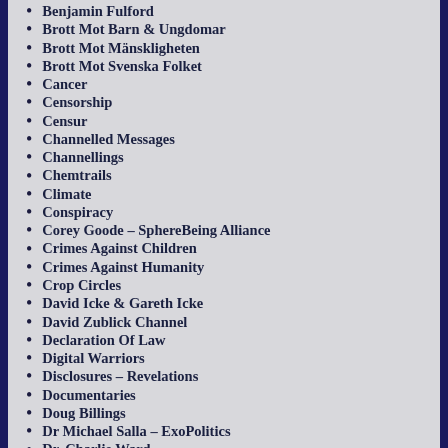Benjamin Fulford
Brott Mot Barn & Ungdomar
Brott Mot Mänskligheten
Brott Mot Svenska Folket
Cancer
Censorship
Censur
Channelled Messages
Channellings
Chemtrails
Climate
Conspiracy
Corey Goode – SphereBeing Alliance
Crimes Against Children
Crimes Against Humanity
Crop Circles
David Icke & Gareth Icke
David Zublick Channel
Declaration Of Law
Digital Warriors
Disclosures – Revelations
Documentaries
Doug Billings
Dr Michael Salla – ExoPolitics
Dr. Charlie Ward